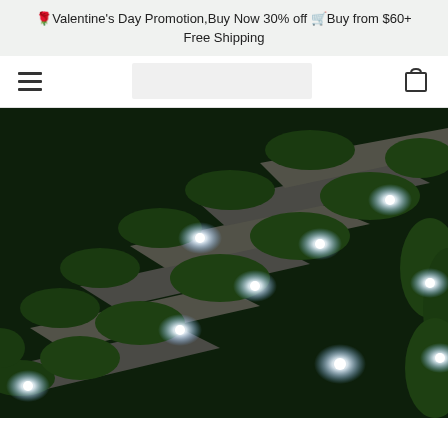🌹Valentine's Day Promotion,Buy Now 30% off 🛒Buy from $60+ Free Shipping
[Figure (screenshot): Navigation bar with hamburger menu on left, search bar in center, cart icon on right]
[Figure (photo): Outdoor stone staircase at night with glowing white solar ground lights placed along the edges among green grass]